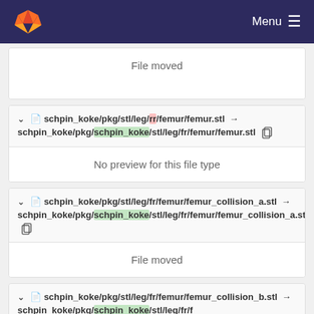[Figure (screenshot): GitLab navigation bar with logo and Menu button]
File moved
schpin_koke/pkg/stl/leg/rr/femur/femur.stl → schpin_koke/pkg/schpin_koke/stl/leg/fr/femur/femur.stl
No preview for this file type
schpin_koke/pkg/stl/leg/fr/femur/femur_collision_a.stl → schpin_koke/pkg/schpin_koke/stl/leg/fr/femur/femur_collision_a.stl
File moved
schpin_koke/pkg/stl/leg/fr/femur/femur_collision_b.stl → schpin_koke/pkg/schpin_koke/stl/leg/fr/f